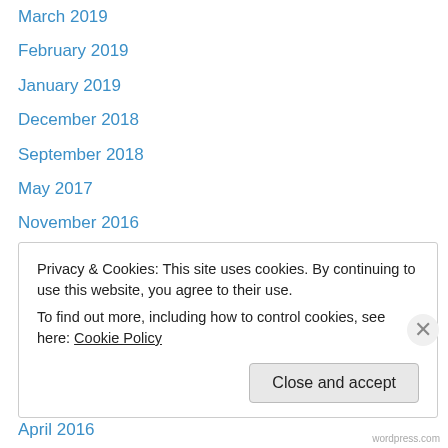March 2019
February 2019
January 2019
December 2018
September 2018
May 2017
November 2016
October 2016
September 2016
July 2016
June 2016
May 2016
April 2016
Privacy & Cookies: This site uses cookies. By continuing to use this website, you agree to their use.
To find out more, including how to control cookies, see here: Cookie Policy
Close and accept